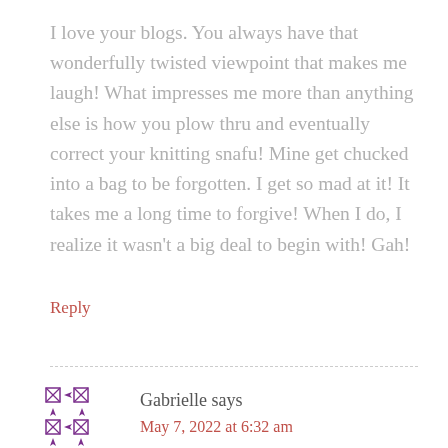I love your blogs. You always have that wonderfully twisted viewpoint that makes me laugh! What impresses me more than anything else is how you plow thru and eventually correct your knitting snafu! Mine get chucked into a bag to be forgotten. I get so mad at it! It takes me a long time to forgive! When I do, I realize it wasn't a big deal to begin with! Gah!
Reply
Gabrielle says
May 7, 2022 at 6:32 am
Your words always lighten my days. Although I never